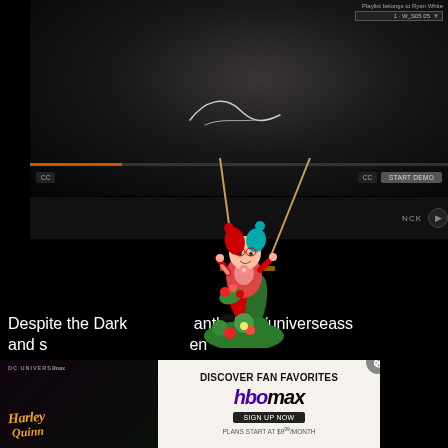[Figure (screenshot): Video player showing a dark-lit scene with a person in a low-key cinematic style. UI controls visible including playback buttons and a 'START DEMO' button. A dropdown for playlist settings is visible in the top-right corner.]
[Figure (illustration): Harley Quinn character illustration on a swing with floral decorations, wearing red and green costume with colorful hair]
Despite the Darks anthology/universe ass and s en
[Figure (screenshot): HBO Max advertisement banner: 'DISCOVER FAN FAVORITES hbomax SIGN UP NOW PLANS START AT $9.99/MONTH' with Harley Quinn DC Universe branding on left side and close button]